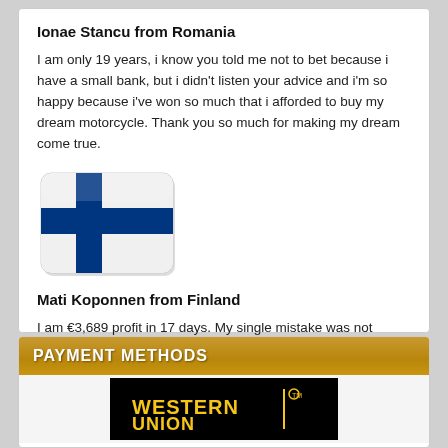Ionae Stancu from Romania
I am only 19 years, i know you told me not to bet because i have a small bank, but i didn't listen your advice and i'm so happy because i've won so much that i afforded to buy my dream motorcycle. Thank you so much for making my dream come true.
[Figure (illustration): Finland flag icon - white background with blue cross, rounded rectangle shape with subtle shadow]
Mati Koponnen from Finland
I am €3,689 profit in 17 days. My single mistake was not betting on the 4,6 odd. Now i would been having more E4000 profit if i wouldn't made this mistake. Congratulation guys and continue your work!
PAYMENT METHODS
[Figure (logo): Western Union logo - yellow text on black background]